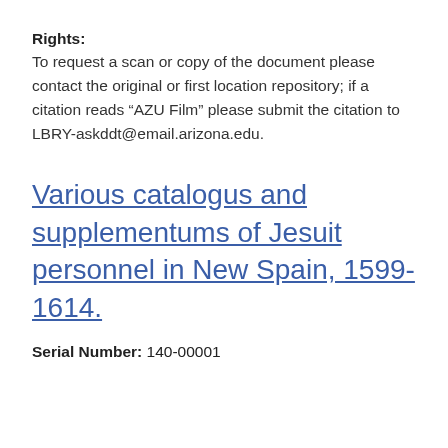Rights: To request a scan or copy of the document please contact the original or first location repository; if a citation reads “AZU Film” please submit the citation to LBRY-askddt@email.arizona.edu.
Various catalogus and supplementums of Jesuit personnel in New Spain, 1599-1614.
Serial Number: 140-00001